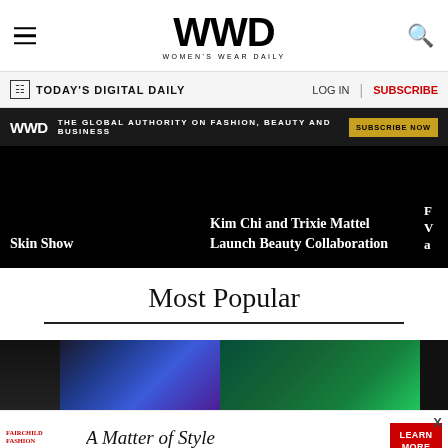WWD — Women's Wear Daily
TODAY'S DIGITAL DAILY   LOG IN   SUBSCRIBE
WWD — THE GLOBAL AUTHORITY ON FASHION, BEAUTY AND BUSINESS — SUBSCRIBE NOW
Skin Show
Kim Chi and Trixie Mattel Launch Beauty Collaboration
Most Popular
[Figure (photo): A person wearing a blue satin garment standing on a green grass background, partially visible.]
[Figure (photo): Fairchild Fashion Museum advertisement — A Matter of Style: A Fairchild Archive Gallery Exhibition — Learn More button]